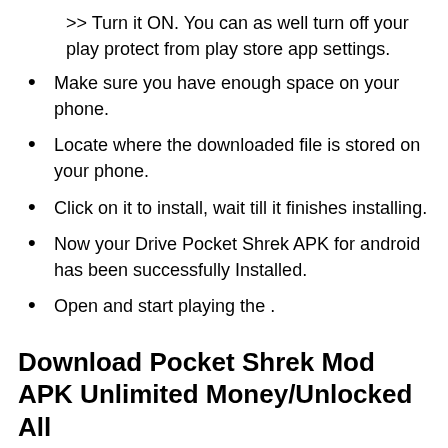>> Turn it ON. You can as well turn off your play protect from play store app settings.
Make sure you have enough space on your phone.
Locate where the downloaded file is stored on your phone.
Click on it to install, wait till it finishes installing.
Now your Drive Pocket Shrek APK for android has been successfully Installed.
Open and start playing the .
Download Pocket Shrek Mod APK Unlimited Money/Unlocked All
GO TO THE DOWNLOAD PAGE